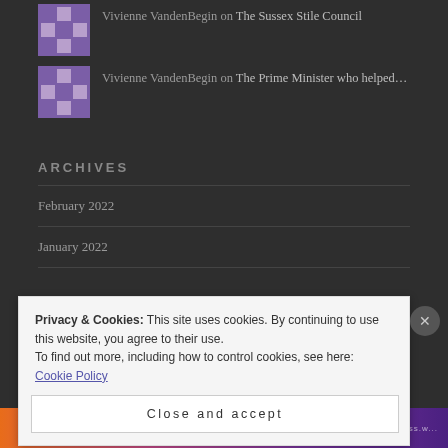Vivienne VandenBegin on The Sussex Stile Council
Vivienne VandenBegin on The Prime Minister who helped...
ARCHIVES
February 2022
January 2022
Privacy & Cookies: This site uses cookies. By continuing to use this website, you agree to their use. To find out more, including how to control cookies, see here: Cookie Policy
Close and accept